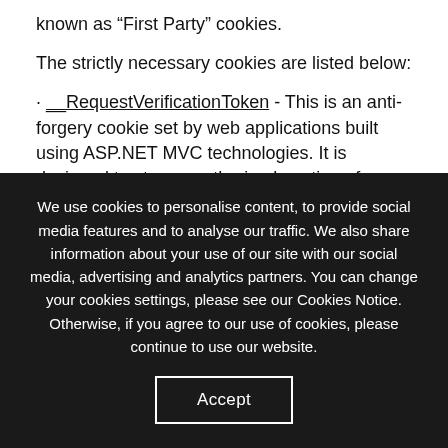known as “First Party” cookies.
The strictly necessary cookies are listed below:
· __RequestVerificationToken - This is an anti-forgery cookie set by web applications built using ASP.NET MVC technologies. It is designed to stop unauthorised posting of content to a website, known as Cross-Site Request Forgery. It holds no information about the user and is destroyed on
We use cookies to personalise content, to provide social media features and to analyse our traffic. We also share information about your use of our site with our social media, advertising and analytics partners. You can change your cookies settings, please see our Cookies Notice. Otherwise, if you agree to our use of cookies, please continue to use our website.